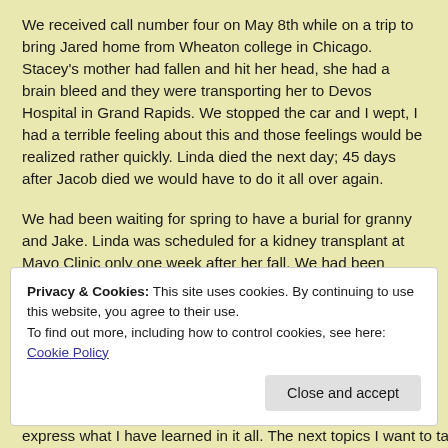We received call number four on May 8th while on a trip to bring Jared home from Wheaton college in Chicago. Stacey's mother had fallen and hit her head, she had a brain bleed and they were transporting her to Devos Hospital in Grand Rapids. We stopped the car and I wept, I had a terrible feeling about this and those feelings would be realized rather quickly. Linda died the next day; 45 days after Jacob died we would have to do it all over again.
We had been waiting for spring to have a burial for granny and Jake. Linda was scheduled for a kidney transplant at Mayo Clinic only one week after her fall. We had been delaying the commital service until she was home and in good health. Instead, grandma was part of the service herself. May 15th, 2014 was possibly the hardest day of them all for me. We committed three loved ones to the earth that day. Exactly one year to the day that it started with that call concerning Justin.
Privacy & Cookies: This site uses cookies. By continuing to use this website, you agree to their use. To find out more, including how to control cookies, see here: Cookie Policy
Close and accept
express what I have learned in it all. The next topics I want to tackle is the